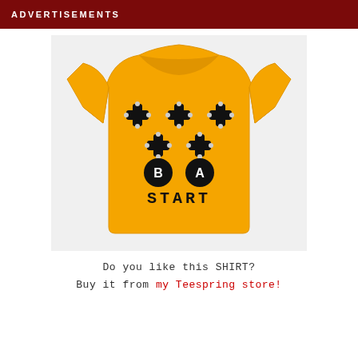ADVERTISEMENTS
[Figure (photo): Orange/yellow t-shirt with a retro video game controller button design showing cross/d-pad symbols in two rows, B and A circular buttons, and the word START below, on a light gray background.]
Do you like this SHIRT?
Buy it from my Teespring store!